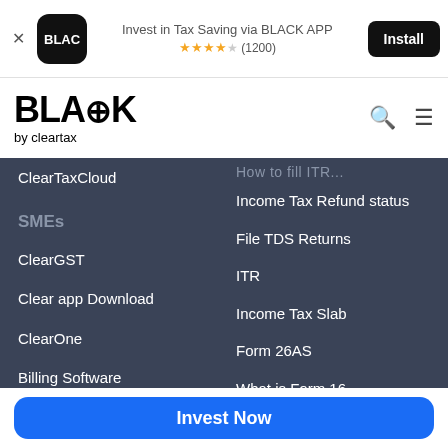[Figure (screenshot): Ad banner for BLACK APP - Invest in Tax Saving via BLACK APP with 4.5 star rating (1200 reviews) and Install button]
[Figure (logo): BLACK by cleartax logo with search and hamburger menu icons]
ClearTaxCloud
SMEs
ClearGST
Clear app Download
ClearOne
Billing Software
Invoicing Software
Income Tax Refund status
File TDS Returns
ITR
Income Tax Slab
Form 26AS
What is Form 16
Salary Income
How to File TDS Returns
Invest Now